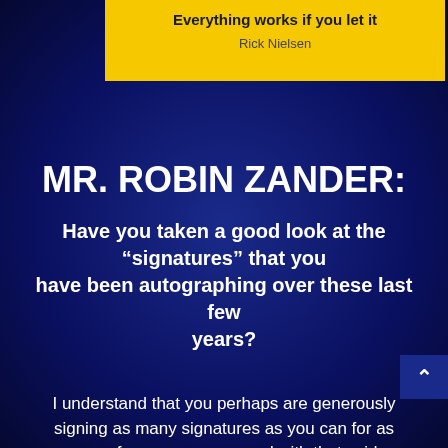[Figure (other): Yellow box at top with quote text 'Everything works if you let it' attributed to Rick Nielsen]
Everything works if you let it
Rick Nielsen
MR. ROBIN ZANDER:
Have you taken a good look at the “signatures” that you have been autographing over these last few years?
I understand that you perhaps are generously signing as many signatures as you can for as many fans as you can, and with that said signing an autograph is far different than